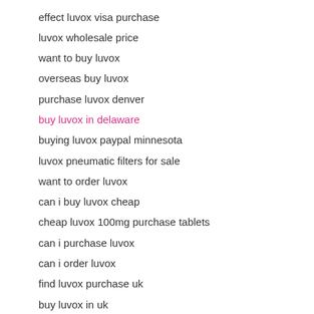effect luvox visa purchase
luvox wholesale price
want to buy luvox
overseas buy luvox
purchase luvox denver
buy luvox in delaware
buying luvox paypal minnesota
luvox pneumatic filters for sale
want to order luvox
can i buy luvox cheap
cheap luvox 100mg purchase tablets
can i purchase luvox
can i order luvox
find luvox purchase uk
buy luvox in uk
where to order next luvox
generic luvox fluvoxamine georgia
where can i buy luvox
need luvox no script